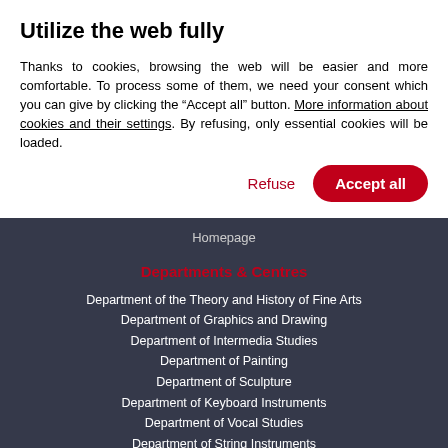Utilize the web fully
Thanks to cookies, browsing the web will be easier and more comfortable. To process some of them, we need your consent which you can give by clicking the “Accept all” button. More information about cookies and their settings. By refusing, only essential cookies will be loaded.
Refuse | Accept all
Homepage
Departments & Centres
Department of the Theory and History of Fine Arts
Department of Graphics and Drawing
Department of Intermedia Studies
Department of Painting
Department of Sculpture
Department of Keyboard Instruments
Department of Vocal Studies
Department of String Instruments
Department of Wind Instruments